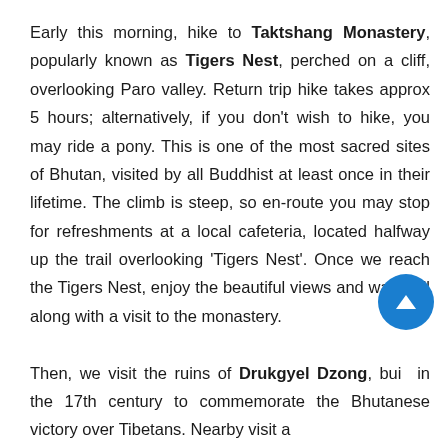Early this morning, hike to Taktshang Monastery, popularly known as Tigers Nest, perched on a cliff, overlooking Paro valley. Return trip hike takes approx 5 hours; alternatively, if you don't wish to hike, you may ride a pony. This is one of the most sacred sites of Bhutan, visited by all Buddhist at least once in their lifetime. The climb is steep, so en-route you may stop for refreshments at a local cafeteria, located halfway up the trail overlooking 'Tigers Nest'. Once we reach the Tigers Nest, enjoy the beautiful views and waterfall along with a visit to the monastery.

Then, we visit the ruins of Drukgyel Dzong, built in the 17th century to commemorate the Bhutanese victory over Tibetans. Nearby visit a traditional Bhutanese farmhouse, which off...